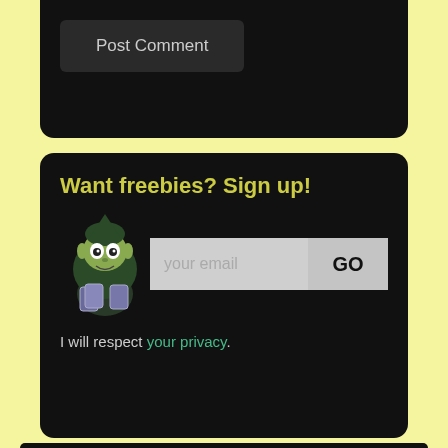[Figure (screenshot): Post Comment button on dark background card]
Want freebies? Sign up!
[Figure (illustration): Goblin/elf character illustration holding cards, with email signup form]
I will respect your privacy.
Torth series
[Figure (illustration): Book cover with Abby Goldsmith author name]
In a galaxy where popular opinion is...